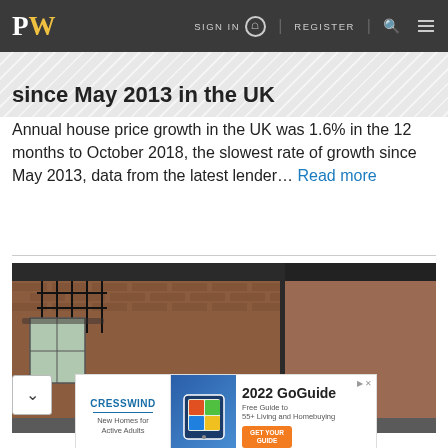PW  SIGN IN  REGISTER
since May 2013 in the UK
Annual house price growth in the UK was 1.6% in the 12 months to October 2018, the slowest rate of growth since May 2013, data from the latest lender… Read more
[Figure (photo): Exterior of a Georgian brick terrace building with a distinctive white arched doorway with a red door, ornate iron balcony, and topiary shrubs at the entrance.]
[Figure (infographic): Advertisement banner for Cresswind 2022 GoGuide — Free Guide to 55+ Living and Homebuying by Kolter Homes.]